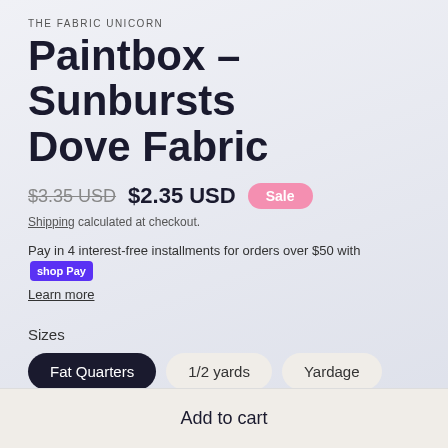THE FABRIC UNICORN
Paintbox - Sunbursts Dove Fabric
$3.35 USD  $2.35 USD  Sale
Shipping calculated at checkout.
Pay in 4 interest-free installments for orders over $50 with shop Pay
Learn more
Sizes
Fat Quarters  1/2 yards  Yardage
Quantity
- 1 +
Add to cart